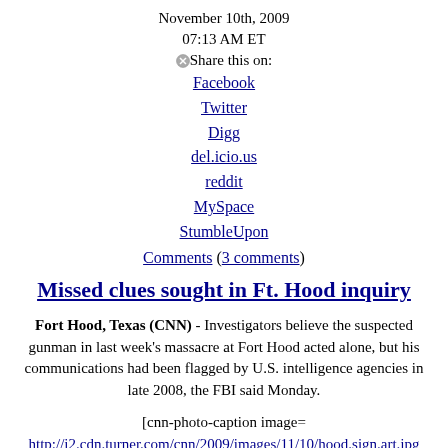November 10th, 2009
07:13 AM ET
Share this on:
Facebook
Twitter
Digg
del.icio.us
reddit
MySpace
StumbleUpon
Comments (3 comments)
Missed clues sought in Ft. Hood inquiry
Fort Hood, Texas (CNN) - Investigators believe the suspected gunman in last week's massacre at Fort Hood acted alone, but his communications had been flagged by U.S. intelligence agencies in late 2008, the FBI said Monday.
[cnn-photo-caption image= http://i2.cdn.turner.com/cnn/2009/images/11/10/hood.sign.art.jpg caption="Army Spc. Ryan Hill and daughter, Emma, 3, light a candle Saturday near the main gate of Fort Hood in Texas."]
The gunman, Maj. Nidal Malik Hasan, was injured and is in custody...